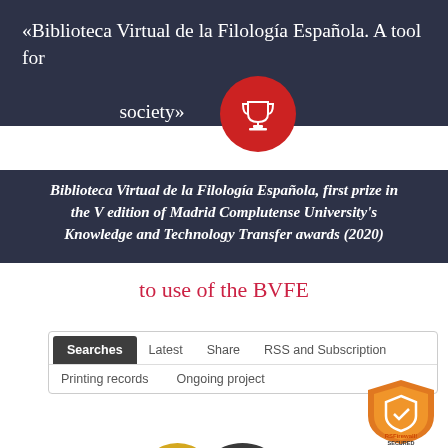«Biblioteca Virtual de la Filología Española. A tool for society»
Biblioteca Virtual de la Filología Española, first prize in the V edition of Madrid Complutense University's Knowledge and Technology Transfer awards (2020)
to use of the BVFE
[Figure (screenshot): Navigation bar with tabs: Searches (active, dark), Latest, Share, RSS and Subscription, Printing records, Ongoing project]
[Figure (logo): RSFirewall! Secured shield badge in orange, with dark and yellow half-circle decorative elements]